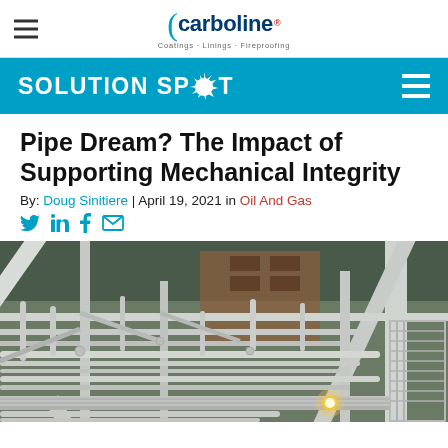Carboline — Coatings · Linings · Fireproofing
SOLUTION SPOT
Pipe Dream? The Impact of Supporting Mechanical Integrity
By: Doug Sinitiere | April 19, 2021 in Oil And Gas
Social share icons: Twitter, LinkedIn, Facebook, Email
[Figure (photo): Industrial facility with white painted pipe supports, piping systems, and structural steel framing viewed from below, with warm lighting visible in background.]